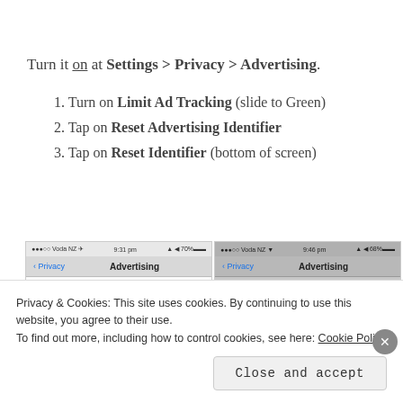Turn it on at Settings > Privacy > Advertising.
1. Turn on Limit Ad Tracking (slide to Green)
2. Tap on Reset Advertising Identifier
3. Tap on Reset Identifier (bottom of screen)
[Figure (screenshot): Two iPhone screenshots showing Privacy > Advertising settings screen. Left screenshot shows the Advertising screen with a red indicator visible. Right screenshot shows a darker version of the same screen.]
Privacy & Cookies: This site uses cookies. By continuing to use this website, you agree to their use.
To find out more, including how to control cookies, see here: Cookie Policy